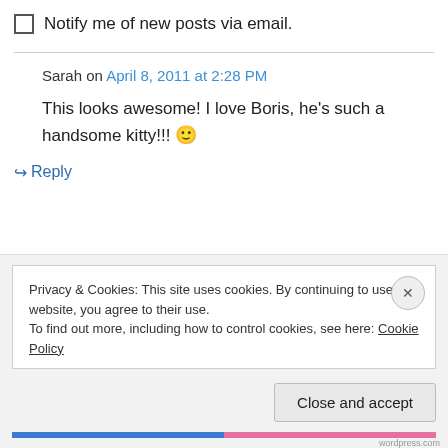Notify me of new posts via email.
Sarah on April 8, 2011 at 2:28 PM
This looks awesome! I love Boris, he's such a handsome kitty!!! 🙂
↪ Reply
Privacy & Cookies: This site uses cookies. By continuing to use this website, you agree to their use.
To find out more, including how to control cookies, see here: Cookie Policy